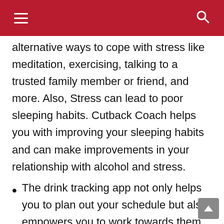≡  🔍
alternative ways to cope with stress like meditation, exercising, talking to a trusted family member or friend, and more. Also, Stress can lead to poor sleeping habits. Cutback Coach helps you with improving your sleeping habits and can make improvements in your relationship with alcohol and stress.
The drink tracking app not only helps you to plan out your schedule but also empowers you to work towards them. Accountability is a very important part when you set up any goal. The Coaches are always there for you when you do not succeed in sticking to the plan.